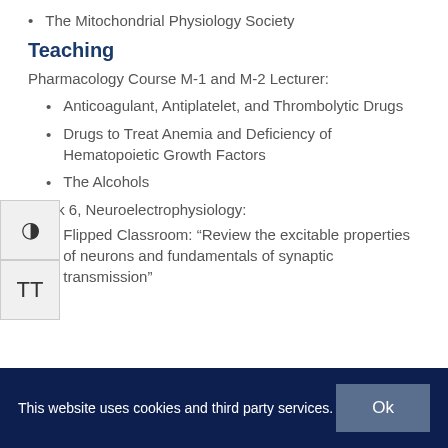The Mitochondrial Physiology Society
Teaching
Pharmacology Course M-1 and M-2 Lecturer:
Anticoagulant, Antiplatelet, and Thrombolytic Drugs
Drugs to Treat Anemia and Deficiency of Hematopoietic Growth Factors
The Alcohols
Block 6, Neuroelectrophysiology:
Flipped Classroom: “Review the excitable properties of neurons and fundamentals of synaptic transmission”
This website uses cookies and third party services.